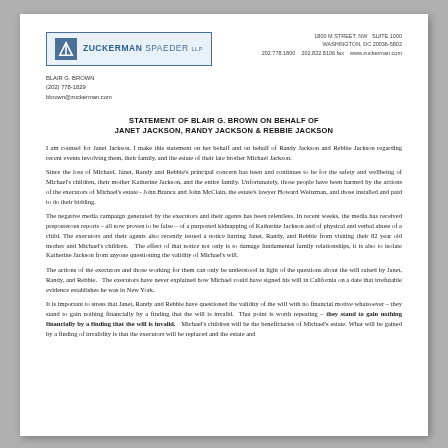[Figure (logo): Zuckerman Spaeder LLP law firm logo with blue triangle icon and firm name]
1800 M STREET, NW  SUITE 1000
WASHINGTON, DC 20036-5802
202.778.1800   202.822.8106 fax   www.zuckerman.com
BLAIR G. BROWN
(202) 778-1829
bbrown@zuckerman.com
STATEMENT OF BLAIR G. BROWN ON BEHALF OF
JANET JACKSON, RANDY JACKSON & REBBIE JACKSON
I am counsel for Janet Jackson. I make this statement on her behalf and on behalf of Randy Jackson and Rebbie Jackson regarding recent events involving them, their family, and the estate of their late brother Michael Jackson.
Since the loss of Michael, Janet, Randy and Rebbie's principal concern has been and continues to be for the safety and wellbeing of Michael's children, their mother Katherine Jackson, and the entire family. Unfortunately, those people have been harmed by the actions of the executors of Michael's estate - John Branca and John McClain, the estate's lawyer Howard Weitzman, and those installed and paid to do their bidding.
The negative media campaign generated by the executors and their agents has been relentless. In recent weeks, the media has received preposterous reports – all now proven to be false – of a purported kidnapping of Katherine Jackson and of physical and verbal abuse of a child. The executors and their agents also recently issued a notice barring Janet, Randy, and Rebbie from visiting their 82 year old mother and Michael's children. The effect of that notice not only is to damage fundamental family relationships, it is also to isolate Katherine Jackson from anyone questioning the validity of Michael's will.
The actions of the executors and those working for them can only be understood in light of the questions about the will raised by Janet, Randy, and Rebbie. The executors have never explained how Michael could have signed his will in California on a date that irrefutable evidence establishes he was in New York.
It is important to stress that Janet, Randy and Rebbie have questioned the validity of the will with no financial motive whatsoever – they stand to gain nothing financially by a finding that the will is invalid. That point is worth repeating – they stand to gain nothing financially by a finding that the will is invalid. Michael's children will be the beneficiaries of Michael's estate. What will be gained by a finding of invalidity is that the executors will be replaced and the estate and